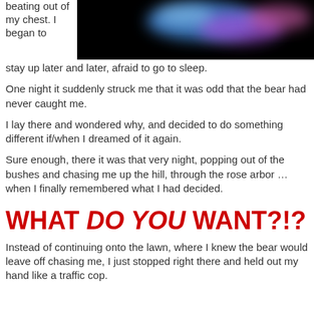beating out of my chest. I began to stay up later and later, afraid to go to sleep.
[Figure (illustration): Black background with a glowing colorful blur of blue, purple, and pink light shapes — likely representing a dreamlike or abstract bear silhouette.]
One night it suddenly struck me that it was odd that the bear had never caught me.
I lay there and wondered why, and decided to do something different if/when I dreamed of it again.
Sure enough, there it was that very night, popping out of the bushes and chasing me up the hill, through the rose arbor … when I finally remembered what I had decided.
WHAT DO YOU WANT?!?
Instead of continuing onto the lawn, where I knew the bear would leave off chasing me, I just stopped right there and held out my hand like a traffic cop.